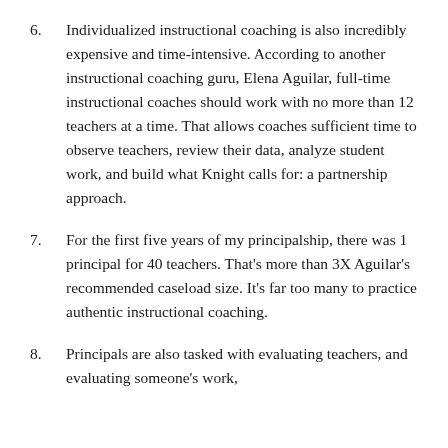6. Individualized instructional coaching is also incredibly expensive and time-intensive. According to another instructional coaching guru, Elena Aguilar, full-time instructional coaches should work with no more than 12 teachers at a time. That allows coaches sufficient time to observe teachers, review their data, analyze student work, and build what Knight calls for: a partnership approach.
7. For the first five years of my principalship, there was 1 principal for 40 teachers. That's more than 3X Aguilar's recommended caseload size. It's far too many to practice authentic instructional coaching.
8. Principals are also tasked with evaluating teachers, and evaluating someone's work,